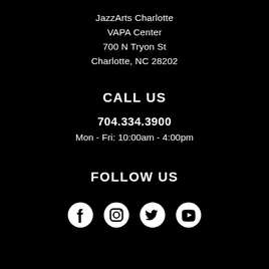JazzArts Charlotte
VAPA Center
700 N Tryon St
Charlotte, NC 28202
CALL US
704.334.3900
Mon - Fri: 10:00am - 4:00pm
FOLLOW US
[Figure (illustration): Row of four white social media icons: Facebook, Instagram, Twitter, YouTube]